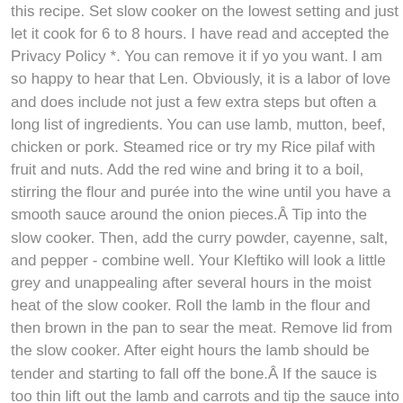this recipe. Set slow cooker on the lowest setting and just let it cook for 6 to 8 hours. I have read and accepted the Privacy Policy *. You can remove it if yo you want. I am so happy to hear that Len. Obviously, it is a labor of love and does include not just a few extra steps but often a long list of ingredients. You can use lamb, mutton, beef, chicken or pork. Steamed rice or try my Rice pilaf with fruit and nuts. Add the red wine and bring it to a boil, stirring the flour and purée into the wine until you have a smooth sauce around the onion pieces.Â Tip into the slow cooker. Then, add the curry powder, cayenne, salt, and pepper - combine well. Your Kleftiko will look a little grey and unappealing after several hours in the moist heat of the slow cooker. Roll the lamb in the flour and then brown in the pan to sear the meat. Remove lid from the slow cooker. After eight hours the lamb should be tender and starting to fall off the bone.Â If the sauce is too thin lift out the lamb and carrots and tip the sauce into a pan, boil it rapidly until it starts to thicken before adding the parsley. So, don't skip on the slow cooking. The meat you use to make a lamb or mutton curry is very important. Cook on low for roughly 8 hours. 1 hr 45 min. *This post first appeared over at Eazy Peazy Mealz , where I am a ... About 8 minutes to read this article. Easy to cook and even easier to eat. I suggest you check at